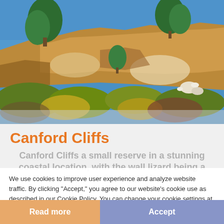[Figure (photo): Photograph of Canford Cliffs showing sandy/orange eroded cliff face with pine trees and green shrubs against a bright blue sky]
Canford Cliffs
Canford Cliffs a small reserve in a stunning coastal location, with the wall lizard being a very prominent species
We use cookies to improve user experience and analyze website traffic. By clicking "Accept," you agree to our website's cookie use as described in our Cookie Policy. You can change your cookie settings at any time by clicking "Preferences."
Read more
Accept